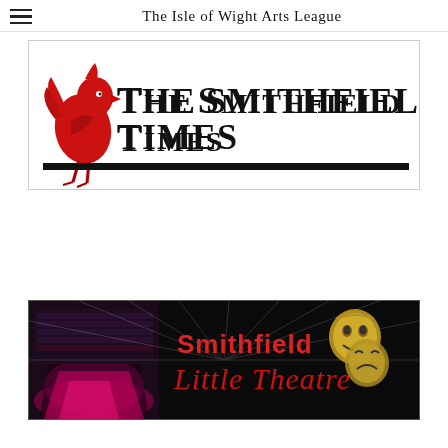The Isle of Wight Arts League
[Figure (logo): The Smithfield Times newspaper logo — red rooster silhouette on left, bold serif text 'THE SMITHFIELD TIMES' in black, thick black underline bar]
[Figure (logo): Smithfield Little Theatre banner — dark background with theatre interior image on left, red script text 'Smithfield Little Theatre', comedy/tragedy mask icon on right]